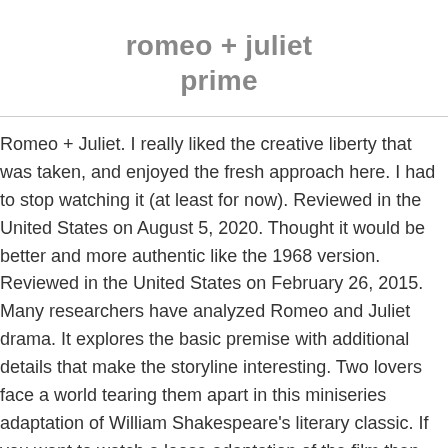romeo + juliet prime
Romeo + Juliet. I really liked the creative liberty that was taken, and enjoyed the fresh approach here. I had to stop watching it (at least for now). Reviewed in the United States on August 5, 2020. Thought it would be better and more authentic like the 1968 version. Reviewed in the United States on February 26, 2015. Many researchers have analyzed Romeo and Juliet drama. It explores the basic premise with additional details that make the storyline interesting. Two lovers face a world tearing them apart in this miniseries adaptation of William Shakespeare's literary classic. If you want to watch a loose adaptation of the film then this is good. Reviewed in the United States on March 23, 2020. I found this version of "Romeo and Juliet" to be the best version, because it was the most entertaining and engrossing to me. Shakespeare's epic